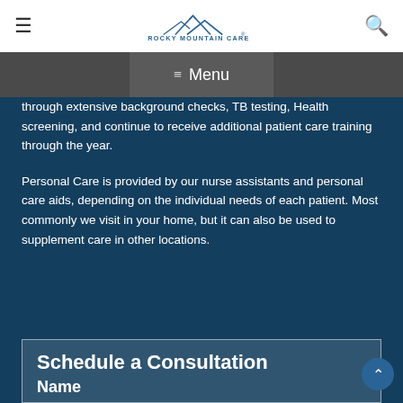Rocky Mountain Care - Menu
through extensive background checks, TB testing, Health screening, and continue to receive additional patient care training through the year.
Personal Care is provided by our nurse assistants and personal care aids, depending on the individual needs of each patient. Most commonly we visit in your home, but it can also be used to supplement care in other locations.
Schedule a Consultation
Name